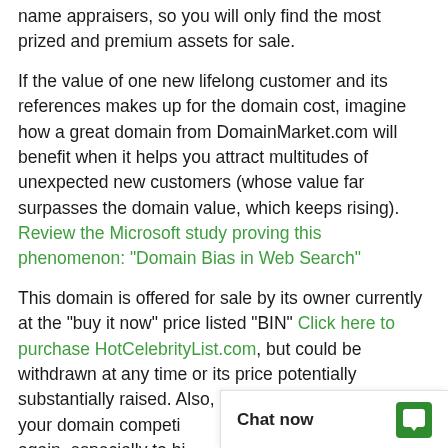name appraisers, so you will only find the most prized and premium assets for sale.
If the value of one new lifelong customer and its references makes up for the domain cost, imagine how a great domain from DomainMarket.com will benefit when it helps you attract multitudes of unexpected new customers (whose value far surpasses the domain value, which keeps rising). Review the Microsoft study proving this phenomenon: "Domain Bias in Web Search"
This domain is offered for sale by its owner currently at the "buy it now" price listed "BIN" Click here to purchase HotCelebrityList.com, but could be withdrawn at any time or its price potentially substantially raised. Also, once sold, the next owner, your domain competi[tor will likely never be able to get it again, especially to hi[ghly motivated buyers...]